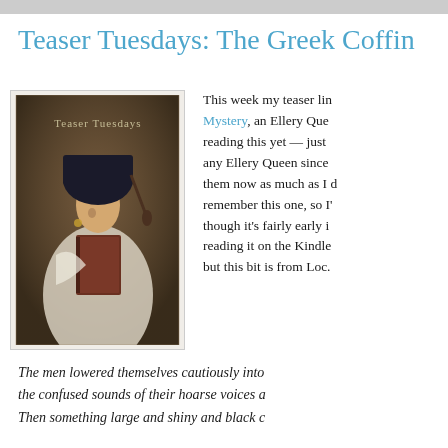Teaser Tuesdays: The Greek Coffin Mystery
[Figure (illustration): Painting of a young woman in classical dress holding a book, with text overlay 'Teaser Tuesdays']
This week my teaser line is from The Greek Coffin Mystery, an Ellery Queen mystery. I haven't been reading this yet — just haven't gotten to reading any Ellery Queen since childhood. I don't enjoy them now as much as I did, or at least I don't remember this one, so I'll see how I feel though it's fairly early in. I'm reading it on the Kindle so page numbers are off but this bit is from Loc.
The men lowered themselves cautiously into the confused sounds of their hoarse voices a Then something large and shiny and black c